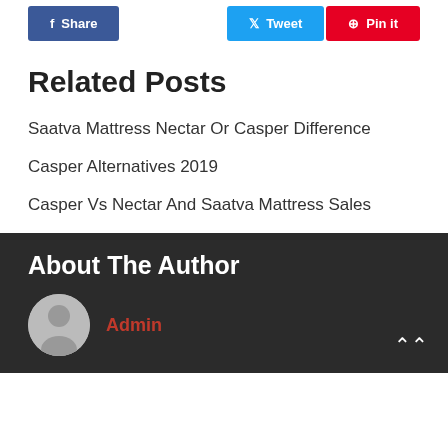[Figure (other): Social share buttons: Facebook Share (blue), Twitter Tweet (light blue), Pinterest Pin it (red)]
Related Posts
Saatva Mattress Nectar Or Casper Difference
Casper Alternatives 2019
Casper Vs Nectar And Saatva Mattress Sales
About The Author
Admin